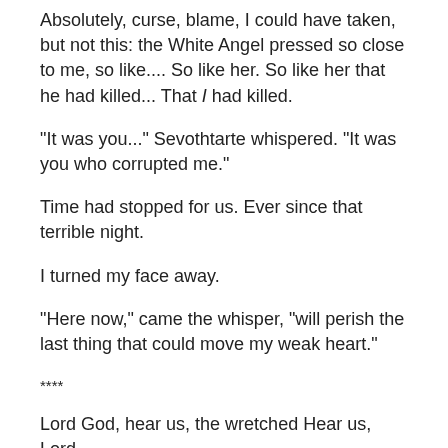Absolutely, curse, blame, I could have taken, but not this: the White Angel pressed so close to me, so like.... So like her. So like her that he had killed... That I had killed.
"It was you..." Sevothtarte whispered. "It was you who corrupted me."
Time had stopped for us. Ever since that terrible night.
I turned my face away.
"Here now," came the whisper, "will perish the last thing that could move my weak heart."
****
Lord God, hear us, the wretched Hear us, Lord
Gi...